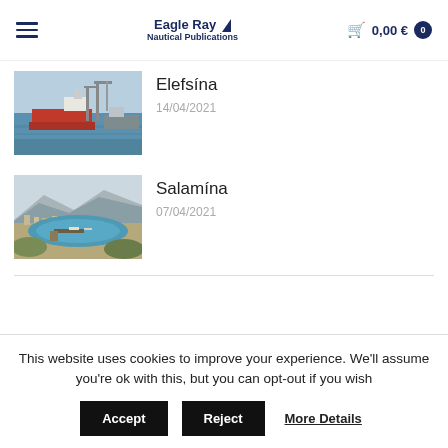Eagle Ray Nautical Publications — Cart: 0,00 € 0
[Figure (photo): Aerial or harbor photo of Elefsina with large industrial ships and cranes visible in blue water]
Elefsína
14/04/2021
[Figure (photo): Aerial view of Salamína island harbor with boats, peninsula, and mountains in background]
Salamína
07/04/2021
This website uses cookies to improve your experience. We'll assume you're ok with this, but you can opt-out if you wish
Accept   Reject   More Details